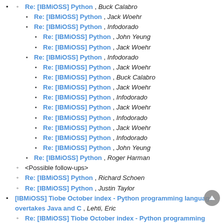Re: [IBMiOSS] Python , Buck Calabro
Re: [IBMiOSS] Python , Jack Woehr
Re: [IBMiOSS] Python , Infodorado
Re: [IBMiOSS] Python , John Yeung
Re: [IBMiOSS] Python , Jack Woehr
Re: [IBMiOSS] Python , Infodorado
Re: [IBMiOSS] Python , Jack Woehr
Re: [IBMiOSS] Python , Buck Calabro
Re: [IBMiOSS] Python , Jack Woehr
Re: [IBMiOSS] Python , Infodorado
Re: [IBMiOSS] Python , Jack Woehr
Re: [IBMiOSS] Python , Infodorado
Re: [IBMiOSS] Python , Jack Woehr
Re: [IBMiOSS] Python , Infodorado
Re: [IBMiOSS] Python , John Yeung
Re: [IBMiOSS] Python , Roger Harman
<Possible follow-ups>
Re: [IBMiOSS] Python , Richard Schoen
Re: [IBMiOSS] Python , Justin Taylor
[IBMiOSS] Tiobe October index - Python programming language overtakes Java and C , Lehti, Eric
Re: [IBMiOSS] Tiobe October index - Python programming